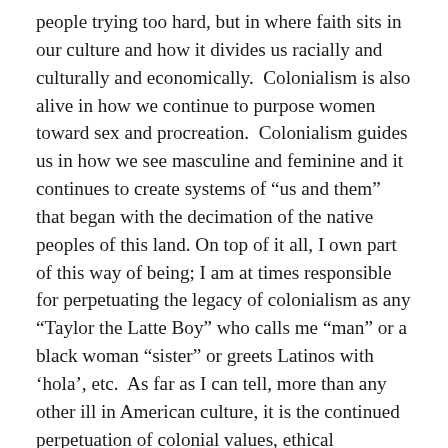people trying too hard, but in where faith sits in our culture and how it divides us racially and culturally and economically.  Colonialism is also alive in how we continue to purpose women toward sex and procreation.  Colonialism guides us in how we see masculine and feminine and it continues to create systems of “us and them” that began with the decimation of the native peoples of this land. On top of it all, I own part of this way of being; I am at times responsible for perpetuating the legacy of colonialism as any “Taylor the Latte Boy” who calls me “man” or a black woman “sister” or greets Latinos with ‘hola’, etc.  As far as I can tell, more than any other ill in American culture, it is the continued perpetuation of colonial values, ethical priorities, relationships, social definitions and a host of other cultural perversions that stands in the way of our living into the most important value that is espoused by both lofty world thinkers and children